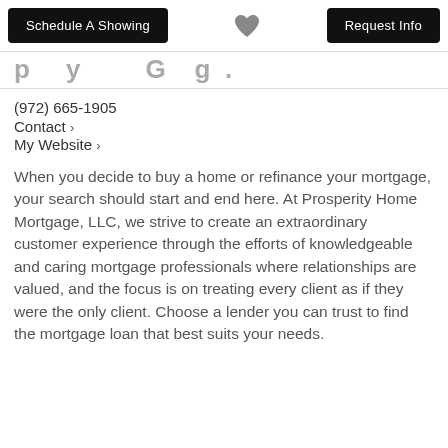Schedule A Showing | [heart] | Request Info
p y G g .
(972) 665-1905
Contact ›
My Website ›
When you decide to buy a home or refinance your mortgage, your search should start and end here. At Prosperity Home Mortgage, LLC, we strive to create an extraordinary customer experience through the efforts of knowledgeable and caring mortgage professionals where relationships are valued, and the focus is on treating every client as if they were the only client. Choose a lender you can trust to find the mortgage loan that best suits your needs.